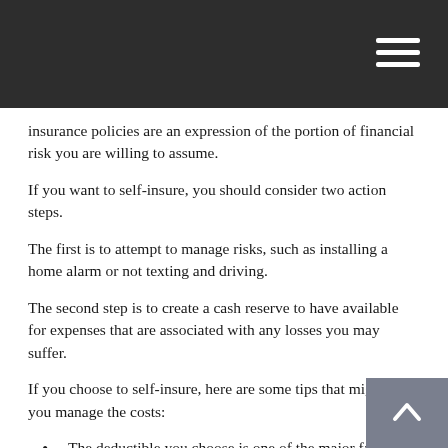insurance policies are an expression of the portion of financial risk you are willing to assume.
If you want to self-insure, you should consider two action steps.
The first is to attempt to manage risks, such as installing a home alarm or not texting and driving.
The second step is to create a cash reserve to have available for expenses that are associated with any losses you may suffer.
If you choose to self-insure, here are some tips that might help you manage the costs:
The deductible you choose is one of the major factors in pricing an insurance policy. Generally, the higher the deductible, the lower the cost of the insurance.
You can choose to selectively assume all the risk. For